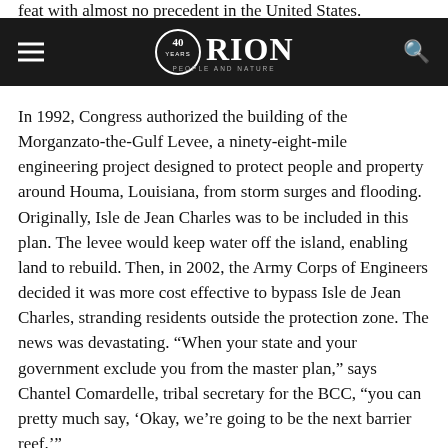feat with almost no precedent in the United States. There in the past that attempted group relocation and failed.
ORION — People and Nature (40 years logo)
In 1992, Congress authorized the building of the Morganzato-the-Gulf Levee, a ninety-eight-mile engineering project designed to protect people and property around Houma, Louisiana, from storm surges and flooding. Originally, Isle de Jean Charles was to be included in this plan. The levee would keep water off the island, enabling land to rebuild. Then, in 2002, the Army Corps of Engineers decided it was more cost effective to bypass Isle de Jean Charles, stranding residents outside the protection zone. The news was devastating. “When your state and your government exclude you from the master plan,” says Chantel Comardelle, tribal secretary for the BCC, “you can pretty much say, ‘Okay, we’re going to be the next barrier reef.’”